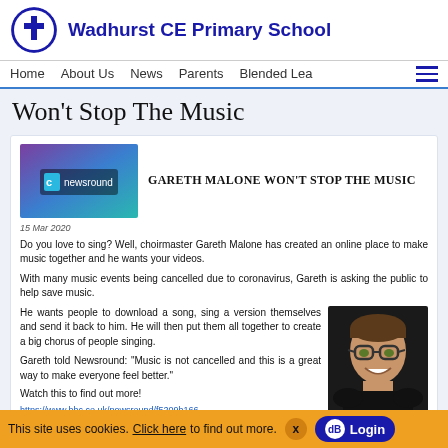Wadhurst CE Primary School
Home  About Us  News  Parents  Blended Lea
Won't Stop The Music
[Figure (screenshot): Newsround logo on purple/teal gradient background]
Gareth Malone Won't Stop The Music
15 Mar 2020
Do you love to sing? Well, choirmaster Gareth Malone has created an online place to make music together and he wants your videos.
With many music events being cancelled due to coronavirus, Gareth is asking the public to help save music.
He wants people to download a song, sing a version themselves and send it back to him. He will then put them all together to create a big chorus of people singing.
Gareth told Newsround: "Music is not cancelled and this is a great way to make everyone feel better."
[Figure (photo): Portrait photo of Gareth Malone smiling, wearing glasses, dark background]
Watch this to find out more!
https://www.bbc.co.uk/newsround/f5209b166...
This site uses cookies. Click here to find out more.  x  Login